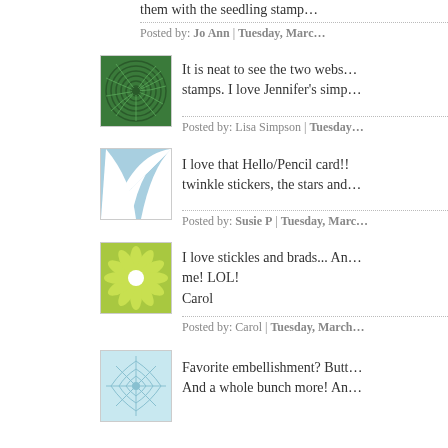[Figure (illustration): Red floral/geometric pattern avatar thumbnail]
them with the seedling stamp…
Posted by: Jo Ann | Tuesday, Marc…
[Figure (illustration): Dark green spiral/swirl pattern avatar thumbnail]
It is neat to see the two webs… stamps. I love Jennifer's simp…
Posted by: Lisa Simpson | Tuesday…
[Figure (illustration): Light blue wave/fan pattern avatar thumbnail]
I love that Hello/Pencil card!! twinkle stickers, the stars and…
Posted by: Susie P | Tuesday, Marc…
[Figure (illustration): Yellow-green flower/starburst pattern avatar thumbnail]
I love stickles and brads... An me! LOL!
Carol
Posted by: Carol | Tuesday, March…
[Figure (illustration): Pale blue web/snowflake pattern avatar thumbnail (partially visible)]
Favorite embellishment? Butt… And a whole bunch more! An…